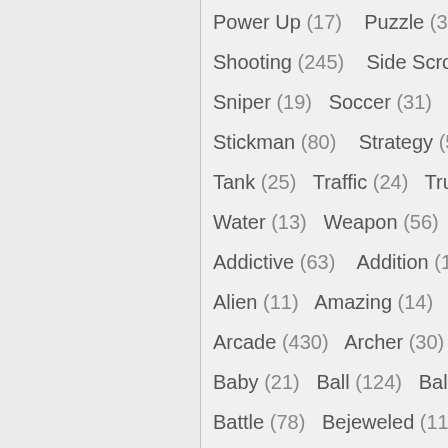Power Up (17)    Puzzle (381)
Shooting (245)    Side Scrolling
Sniper (19)    Soccer (31)    Sp...
Stickman (80)    Strategy (51)
Tank (25)    Traffic (24)    Truck...
Water (13)    Weapon (56)    W...
Addictive (63)    Addition (14)
Alien (11)    Amazing (14)    An...
Arcade (430)    Archer (30)    A...
Baby (21)    Ball (124)    Ball (...
Battle (78)    Bejeweled (11)
Blood (19)    Bloody (17)    Boa...